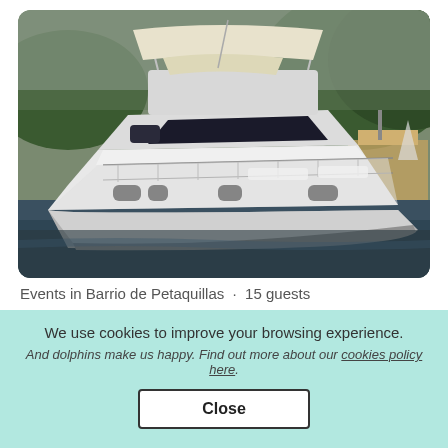[Figure (photo): A large white luxury motor yacht moored at a marina, with a bimini top and flybridge, trees and colorful boats visible in the background.]
Events in Barrio de Petaquillas · 15 guests
We use cookies to improve your browsing experience.
And dolphins make us happy. Find out more about our cookies policy here.
Close